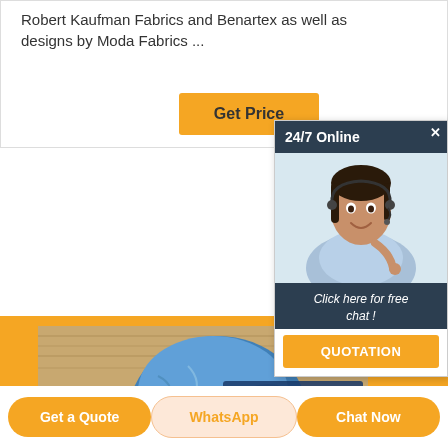Robert Kaufman Fabrics and Benartex as well as designs by Moda Fabrics ...
[Figure (screenshot): Orange 'Get Price' button]
[Figure (screenshot): 24/7 Online chat widget overlay with agent photo, 'Click here for free chat!' text and QUOTATION button]
[Figure (photo): Photo of a large printed fabric/banner featuring a blue cartoon parrot (Blu from Rio), with UNISIG branding partially visible]
[Figure (screenshot): Bottom navigation bar with 'Get a Quote', 'WhatsApp', and 'Chat Now' buttons]